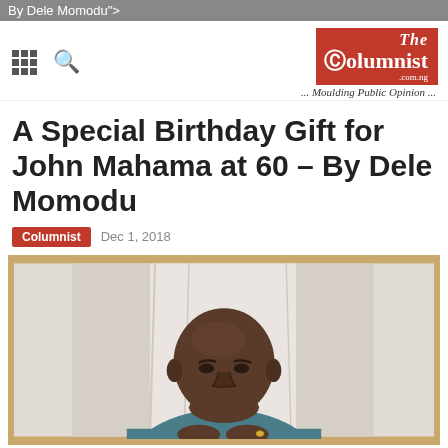By Dele Momodu">
[Figure (logo): The Columnist logo — red box with white serif text 'The Columnist .com.ng' and tagline '... Moulding Public Opinion ...']
A Special Birthday Gift for John Mahama at 60 – By Dele Momodu
Columnist   Dec 1, 2018
[Figure (photo): Portrait photo of John Mahama, a bald Black man in a teal/blue shirt, hands clasped, looking downward slightly, against a light background, framed with a gold/tan border.]